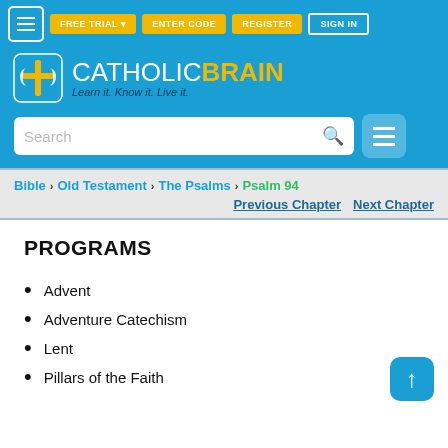FREE TRIAL  ENTER CODE  REGISTER  SIGN IN
[Figure (logo): CatholicBrain logo with brain/cross icon. Text: CATHOLICBRAIN Learn it. Know it. Live it.]
Search
Bible > Old Testament > The Psalms > Psalm 94
Previous Chapter   Next Chapter
PROGRAMS
Advent
Adventure Catechism
Lent
Pillars of the Faith